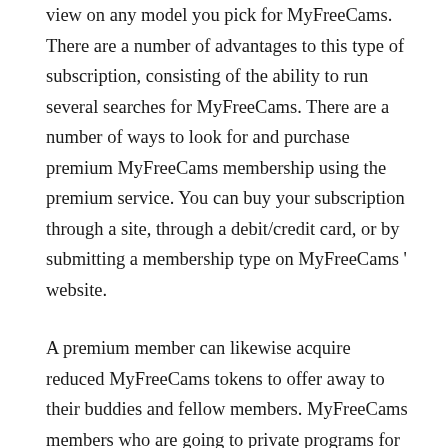view on any model you pick for MyFreeCams. There are a number of advantages to this type of subscription, consisting of the ability to run several searches for MyFreeCams. There are a number of ways to look for and purchase premium MyFreeCams membership using the premium service. You can buy your subscription through a site, through a debit/credit card, or by submitting a membership type on MyFreeCams ' website.
A premium member can likewise acquire reduced MyFreeCams tokens to offer away to their buddies and fellow members. MyFreeCams members who are going to private programs for the first time may likewise desire to try out the premium service to get ideas of how the whole group activity works.
These tokens are not responsible for any purchases you make on MyFreeCams. By acquiring MyFreeCams superior memberships, you will likewise gain access to a number of personal clubs and online chat spaces where you can interact socially with other MyFreeCams members.